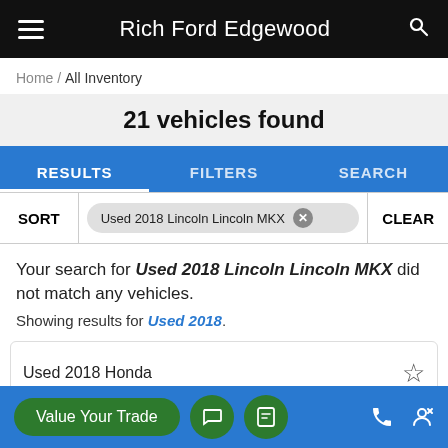Rich Ford Edgewood
Home / All Inventory
21 vehicles found
RESULTS  FILTERS  SEARCH
SORT  Used 2018 Lincoln Lincoln MKX  CLEAR
Your search for Used 2018 Lincoln Lincoln MKX did not match any vehicles. Showing results for Used 2018.
Used 2018 Honda
Value Your Trade